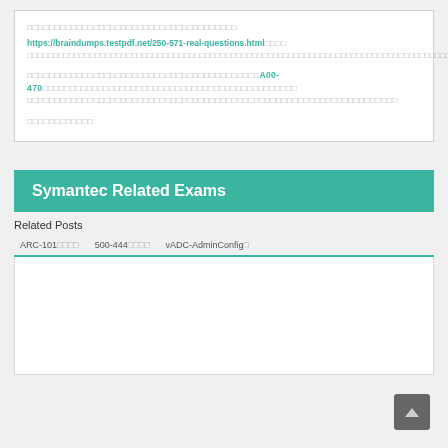aaaaaaaaaaaaaaaaaaaaaaaaaaaaaaaaaaaaaaaa https://braindumps.testpdf.net/250-571-real-questions.html aaaa aaaaaaaaaaaaaaaaaaaaaaaaaaaaaaaaaaaaaaaaaaaaaaaaaaaaaaaaaaaaaaaaaaaaaaaaaaa
aaaaaaaaaaaaaaaaaaaaaaaaaaaaaaaaaaaaaaaaa A00-470 aaa aaaaaaaaaaaaaaaaaaaaaaaa aaaaaaaaaaaaaaaaaaaaaaaaaaaaaaaaaaaaaaaaaaaaaaaaaaaaaaaaaaaaaa
aaaaaaaaaaaaa
Symantec Related Exams
Related Posts
ARC-101□□□□   500-444□□□□   vADC-AdminConfig□